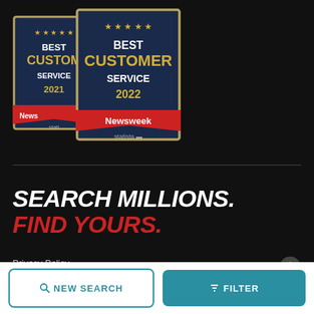[Figure (logo): Two Newsweek Best Customer Service award badges for 2021 and 2022, with red Newsweek ribbon and statista logo]
SEARCH MILLIONS. FIND YOURS.
Privacy Policy
Terms and Conditions
NEW SEARCH
FILTER